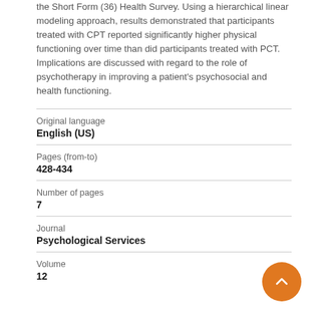the Short Form (36) Health Survey. Using a hierarchical linear modeling approach, results demonstrated that participants treated with CPT reported significantly higher physical functioning over time than did participants treated with PCT. Implications are discussed with regard to the role of psychotherapy in improving a patient's psychosocial and health functioning.
| Field | Value |
| --- | --- |
| Original language | English (US) |
| Pages (from-to) | 428-434 |
| Number of pages | 7 |
| Journal | Psychological Services |
| Volume | 12 |